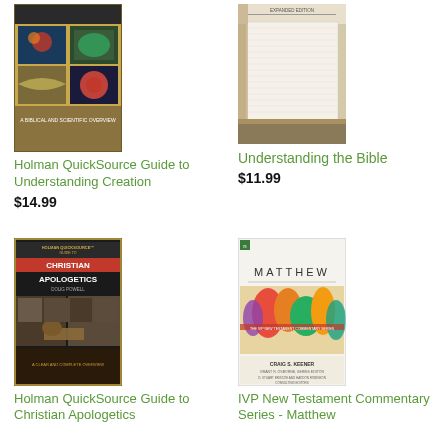[Figure (photo): Book cover: Holman QuickSource Guide to Understanding Creation - shows scientific imagery including planets, biology, maps]
Holman QuickSource Guide to Understanding Creation
$14.99
[Figure (photo): Book cover: Understanding the Bible - shows a close-up of a Bible]
Understanding the Bible
$11.99
[Figure (photo): Book cover: Holman QuickSource Guide to Christian Apologetics by Doug Powell - shows gavel and historical figures]
Holman QuickSource Guide to Christian Apologetics
[Figure (photo): Book cover: IVP New Testament Commentary Series - Matthew by Craig S. Keener - shows colorful artistic figures]
IVP New Testament Commentary Series - Matthew